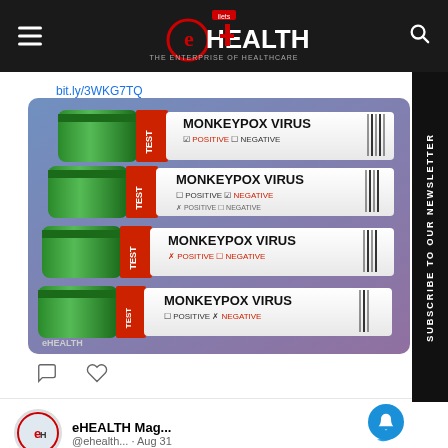eHEALTH – THE ENTERPRISE OF HEALTHCARE
bit.ly/3WKG7TQ
[Figure (photo): Multiple Monkeypox Virus test tubes with green caps, labeled with POSITIVE/NEGATIVE checkboxes, showing eHEALTH watermark]
eHEALTH Mag... @ehealth... · Aug 31 — #DrBaljitKaur, Punjab Minister for Social Security Women and Child Welfare, inaugurated #healthcentres on Tuesday in Lakhewali and Nandgarh villages, Muktsar, #Punjab.